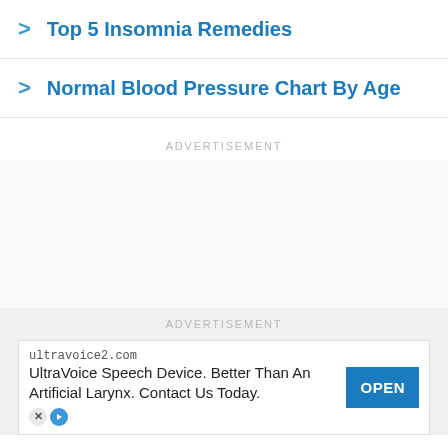Top 5 Insomnia Remedies
Normal Blood Pressure Chart By Age
ADVERTISEMENT
ADVERTISEMENT
ultravoice2.com
UltraVoice Speech Device. Better Than An Artificial Larynx. Contact Us Today.